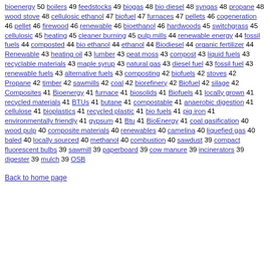bioenergy 50 boilers 49 feedstocks 49 biogas 48 bio diesel 48 syngas 48 propane 48 wood stove 48 cellulosic ethanol 47 biofuel 47 furnaces 47 pellets 46 cogeneration 46 pellet 46 firewood 46 renewable 46 bioethanol 46 hardwoods 45 switchgrass 45 cellulosic 45 heating 45 cleaner burning 45 pulp mills 44 renewable energy 44 fossil fuels 44 composted 44 bio ethanol 44 ethanol 44 Biodiesel 44 organic fertilizer 44 Renewable 43 heating oil 43 lumber 43 peat moss 43 compost 43 liquid fuels 43 recyclable materials 43 maple syrup 43 natural gas 43 diesel fuel 43 fossil fuel 43 renewable fuels 43 alternative fuels 43 composting 42 biofuels 42 stoves 42 Propane 42 timber 42 sawmills 42 coal 42 biorefinery 42 Biofuel 42 silage 42 Composites 41 Bioenergy 41 furnace 41 biosolids 41 Biofuels 41 locally grown 41 recycled materials 41 BTUs 41 butane 41 compostable 41 anaerobic digestion 41 cellulose 41 bioplastics 41 recycled plastic 41 bio fuels 41 pig iron 41 environmentally friendly 41 gypsum 41 Btu 41 BioEnergy 41 coal gasification 40 wood pulp 40 composite materials 40 renewables 40 camelina 40 liquefied gas 40 baled 40 locally sourced 40 methanol 40 combustion 40 sawdust 39 compact fluorescent bulbs 39 sawmill 39 paperboard 39 cow manure 39 incinerators 39 digester 39 mulch 39 OSB
Back to home page